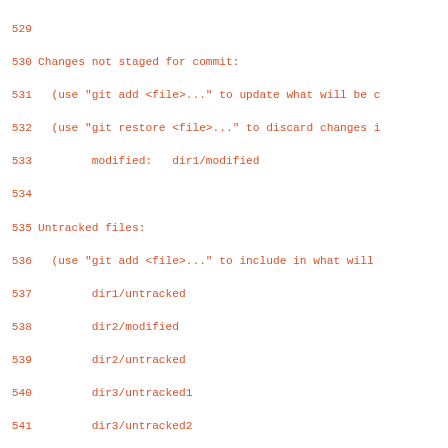529
530 Changes not staged for commit:
531   (use "git add <file>..." to update what will be c
532   (use "git restore <file>..." to discard changes i
533         modified:   dir1/modified
534
535 Untracked files:
536   (use "git add <file>..." to include in what will
537         dir1/untracked
538         dir2/modified
539         dir2/untracked
540         dir3/untracked1
541         dir3/untracked2
542         untracked
543
544 EOF
545         git status -uall >output &&
546         test_i18ncmp expect output
547 '
548
549 test_expect_success 'status (status.showUntrackedFi
550         test_config status.showuntrackedfiles all &
551         git status >output &&
552         test_i18ncmp expect output
553 '
554
555 test_expect_success 'teardown dir3' '
556         rm -rf dir3
557 '
558